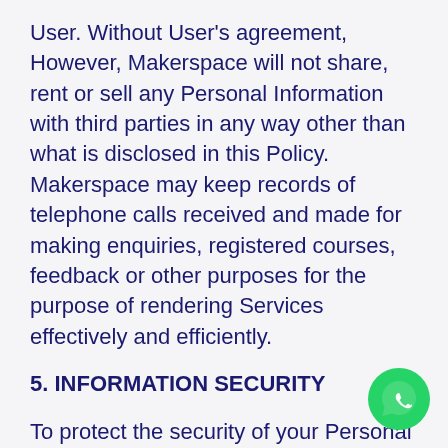User. Without User's agreement, However, Makerspace will not share, rent or sell any Personal Information with third parties in any way other than what is disclosed in this Policy. Makerspace may keep records of telephone calls received and made for making enquiries, registered courses, feedback or other purposes for the purpose of rendering Services effectively and efficiently.
5. INFORMATION SECURITY
To protect the security of your Personal Information from loss, misuse, and unauthorized access, disclosure, alteration,
[Figure (logo): WhatsApp green circular button icon]